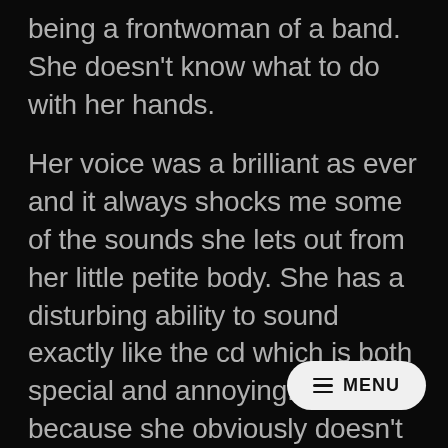being a frontwoman of a band. She doesn't know what to do with her hands.
Her voice was a brilliant as ever and it always shocks me some of the sounds she lets out from her little petite body. She has a disturbing ability to sound exactly like the cd which is both special and annoying. It's great because she obviously doesn't use effects on her cd when singing but it's sucks in that the live experience is such a slave to the cd. I wouldn't mind some deviations during the songs – s play around with them a little.